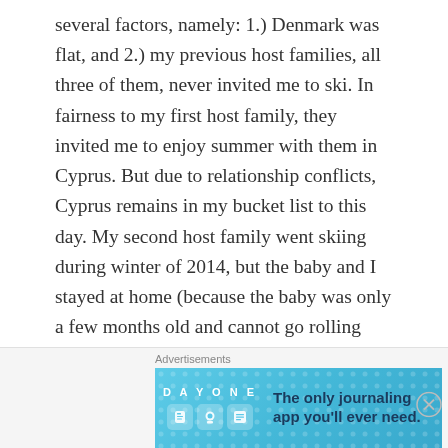several factors, namely: 1.) Denmark was flat, and 2.) my previous host families, all three of them, never invited me to ski. In fairness to my first host family, they invited me to enjoy summer with them in Cyprus. But due to relationship conflicts, Cyprus remains in my bucket list to this day. My second host family went skiing during winter of 2014, but the baby and I stayed at home (because the baby was only a few months old and cannot go rolling down the snowy mountains?). And my third hosts went to their cabin by the beach in southern Denmark during the winter that I spent with them (2015).
Anyway, there's a perfect time for everything! 😉
[Figure (other): Advertisement banner for DayOne journaling app with blue background, icons, and text 'The only journaling app you'll ever need.']